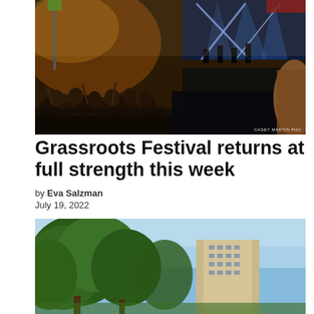[Figure (photo): Outdoor music festival crowd at night with bright stage lights and smoke, band performing on stage in background. Photo credit: Casey Martin Photography.]
Grassroots Festival returns at full strength this week
by Eva Salzman
July 19, 2022
[Figure (photo): Outdoor daytime photo showing green trees in foreground and a multi-story building visible in background under blue sky.]